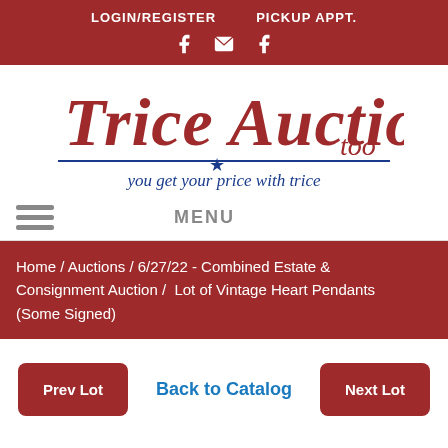LOGIN/REGISTER   PICKUP APPT.
[Figure (logo): Trice Auctions Too logo with script text 'Trice Auctions too' and tagline 'you get your price with trice']
MENU
Home / Auctions / 6/27/22 - Combined Estate & Consignment Auction /  Lot of Vintage Heart Pendants (Some Signed)
Prev Lot   Back to Catalog   Next Lot